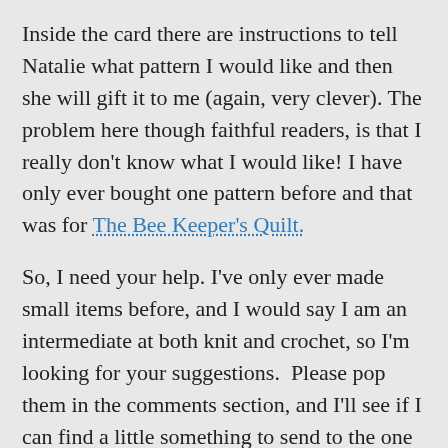Inside the card there are instructions to tell Natalie what pattern I would like and then she will gift it to me (again, very clever). The problem here though faithful readers, is that I really don't know what I would like! I have only ever bought one pattern before and that was for The Bee Keeper's Quilt.
So, I need your help. I've only ever made small items before, and I would say I am an intermediate at both knit and crochet, so I'm looking for your suggestions.  Please pop them in the comments section, and I'll see if I can find a little something to send to the one that I go with or leads me to my choice – thinking caps on!
Update:
You may remember my squeeing yesterday at my mini skeins, well I have popped them into balls ready to be